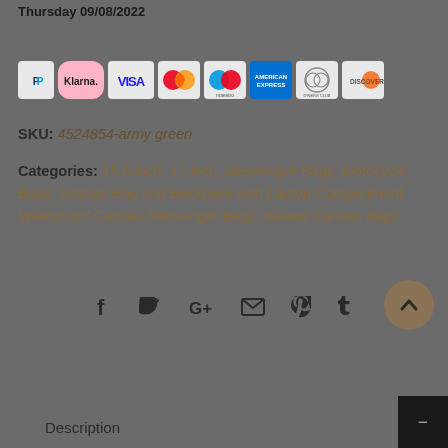Thursday 09/08/2022
[Figure (logo): Payment method icons: PayPal, Klarna, Visa, Mastercard, Maestro, American Express, Diners Club, Discover]
SKU: 4524854-army green
Categories: 15.6-inch, 17-inch, Messenger Bags, Motocycle Bags, Vintage Bag and Backpack with Laptop Compartment, Waterproof Canvas Messenger Bags, Waxed Canvas Bags
[Figure (infographic): Social sharing icons: Facebook, Twitter, Google+, Email, Pinterest, Tumblr]
Description